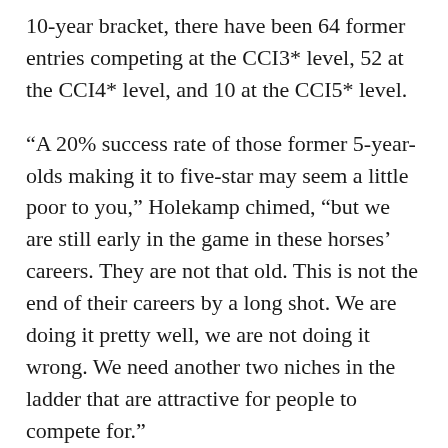10-year bracket, there have been 64 former entries competing at the CCI3* level, 52 at the CCI4* level, and 10 at the CCI5* level.
“A 20% success rate of those former 5-year-olds making it to five-star may seem a little poor to you,” Holekamp chimed, “but we are still early in the game in these horses’ careers. They are not that old. This is not the end of their careers by a long shot. We are doing it pretty well, we are not doing it wrong. We need another two niches in the ladder that are attractive for people to compete for.”
Holekamp presented a few options to the attendees for consideration in hopes of receiving support or further ideas from the crowd for ideas to present to the USEA BOG. By far, the most supported option Holekamp mentioned was to host two national championships, one on each coast, at the end of the year. The biggest reaction called for and for...